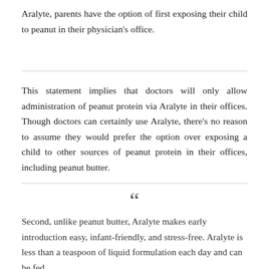Aralyte, parents have the option of first exposing their child to peanut in their physician's office.
This statement implies that doctors will only allow administration of peanut protein via Aralyte in their offices. Though doctors can certainly use Aralyte, there's no reason to assume they would prefer the option over exposing a child to other sources of peanut protein in their offices, including peanut butter.
Second, unlike peanut butter, Aralyte makes early introduction easy, infant-friendly, and stress-free. Aralyte is less than a teaspoon of liquid formulation each day and can be fed directly to a child or mixed with infant formula